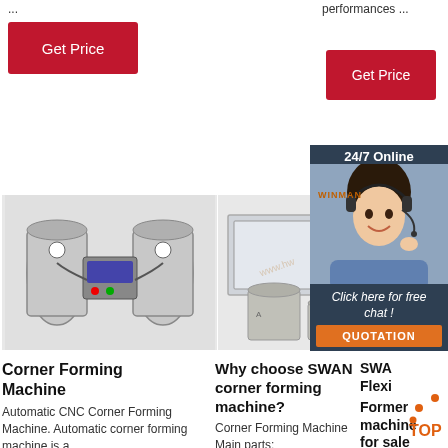...
performances ...
Get Price
Get Price
[Figure (photo): Industrial adhesive dispensing machine with two canisters and control panel]
[Figure (photo): SWAN corner forming machine kit with box panel and adhesive buckets, labeled 用胶点]
[Figure (photo): 24/7 Online chat widget with woman wearing headset, Click here for free chat, QUOTATION button]
WINMAN
Corner Forming Machine
Automatic CNC Corner Forming Machine. Automatic corner forming machine is a
Why choose SWAN corner forming machine?
Corner Forming Machine Main parts:
SWAN Flexi Former machine for sale
In your SWAN Corner Forming machine, you can
[Figure (logo): TOP logo with orange arc design]